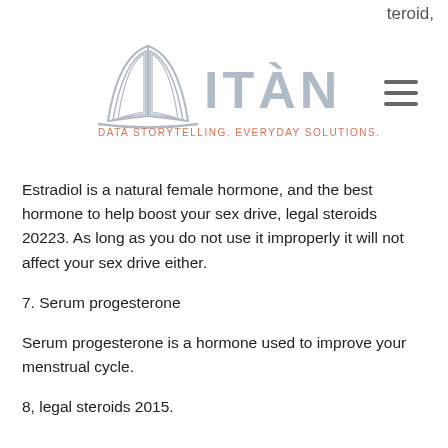teroid,
[Figure (logo): ITÀN logo with book/pages graphic and tagline 'DATA STORYTELLING. EVERYDAY SOLUTIONS.']
Estradiol is a natural female hormone, and the best hormone to help boost your sex drive, legal steroids 20223. As long as you do not use it improperly it will not affect your sex drive either.
7. Serum progesterone
Serum progesterone is a hormone used to improve your menstrual cycle.
8, legal steroids 2015.
HGH (Human Growth Hormones) are the next level steroid for bodybuilders, the steroid is the synthetic version of HGH that